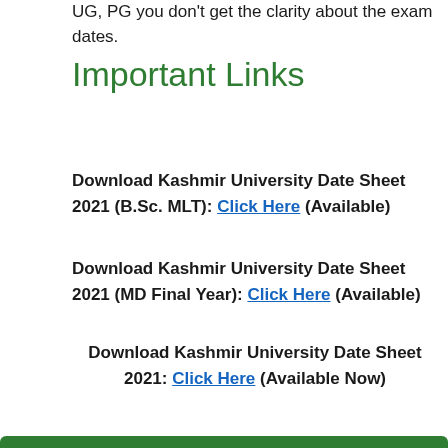UG, PG you don't get the clarity about the exam dates.
Important Links
Download Kashmir University Date Sheet 2021 (B.Sc. MLT): Click Here (Available)
Download Kashmir University Date Sheet 2021 (MD Final Year): Click Here (Available)
Download Kashmir University Date Sheet 2021: Click Here (Available Now)